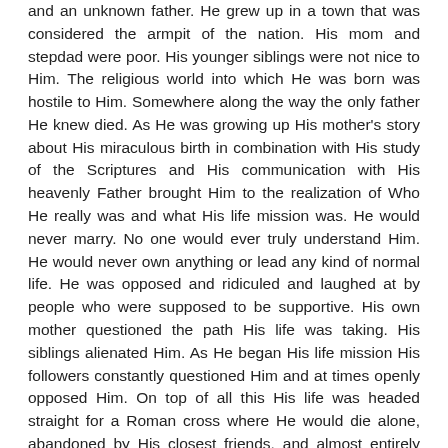and an unknown father. He grew up in a town that was considered the armpit of the nation. His mom and stepdad were poor. His younger siblings were not nice to Him. The religious world into which He was born was hostile to Him. Somewhere along the way the only father He knew died. As He was growing up His mother's story about His miraculous birth in combination with His study of the Scriptures and His communication with His heavenly Father brought Him to the realization of Who He really was and what His life mission was. He would never marry. No one would ever truly understand Him. He would never own anything or lead any kind of normal life. He was opposed and ridiculed and laughed at by people who were supposed to be supportive. His own mother questioned the path His life was taking. His siblings alienated Him. As He began His life mission His followers constantly questioned Him and at times openly opposed Him. On top of all this His life was headed straight for a Roman cross where He would die alone, abandoned by His closest friends, and almost entirely misunderstood.
Hardly sounds fair or just.
He said things like "They hate Me and they will hate you too." He said "You must take up your cross every day and